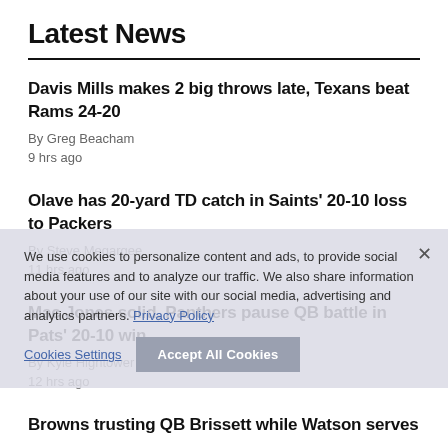Latest News
Davis Mills makes 2 big throws late, Texans beat Rams 24-20
By Greg Beacham
9 hrs ago
Olave has 20-yard TD catch in Saints' 20-10 loss to Packers
By Steve Megargee
11 hrs ago
Mac Jones solid, Panthers pause QB battle in Pats' 20-10 win
By Kyle Hightower
12 hrs ago
Browns trusting QB Brissett while Watson serves
We use cookies to personalize content and ads, to provide social media features and to analyze our traffic. We also share information about your use of our site with our social media, advertising and analytics partners. Privacy Policy
Cookies Settings | Accept All Cookies